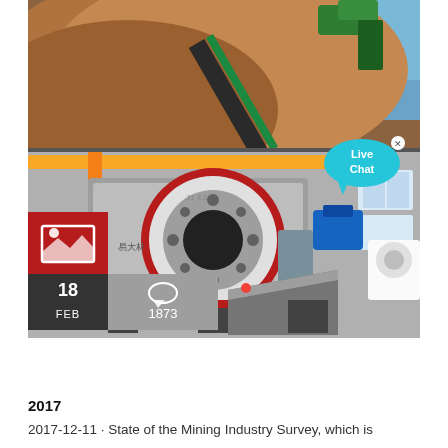[Figure (photo): Mining industrial scene: top half shows a large pile of reddish-brown ore/earth with conveyor and machinery; bottom half shows a large jaw crusher machine (red, white, and black) in a factory/industrial hall. Overlaid in lower-left: a red thumbnail icon box, a dark date box showing '18 FEB', and a grey comment box with a chat icon and '1873'. A teal 'Live Chat' speech bubble appears in the upper-right.]
2017
2017-12-11 · State of the Mining Industry Survey, which is